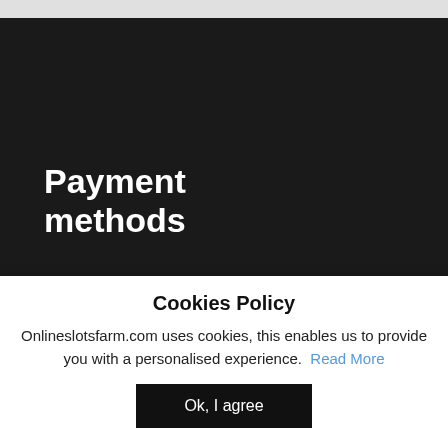Payment methods
Online Slots Farm is committed to supporting Responsible Gaming. Underage gambling is an offence.
Cookies Policy
Onlineslotsfarm.com uses cookies, this enables us to provide you with a personalised experience. Read More
Ok, I agree